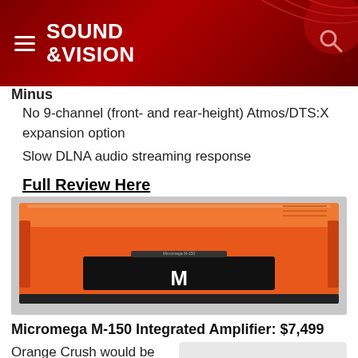Sound & Vision
Minus
No 9-channel (front- and rear-height) Atmos/DTS:X expansion option
Slow DLNA audio streaming response
Full Review Here
[Figure (photo): Orange Micromega M-150 Integrated Amplifier product photo, showing sleek orange rectangular chassis with black front panel and M logo]
Micromega M-150 Integrated Amplifier: $7,499
Orange Crush would be an appropriate nick name for the
[Figure (other): Star rating graphic showing approximately 1 out of 5 stars with a Sound & Vision Top Pick badge in the bottom right]